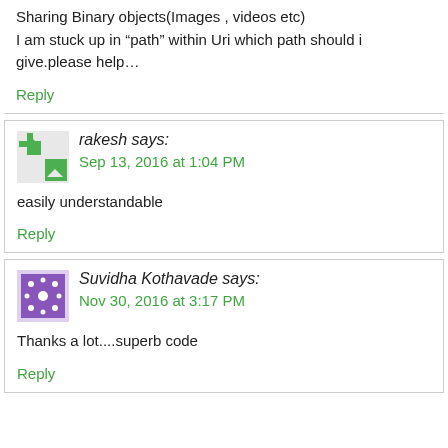Sharing Binary objects(Images , videos etc)
I am stuck up in “path” within Uri which path should i give.please help…
Reply
rakesh says:
Sep 13, 2016 at 1:04 PM
easily understandable
Reply
Suvidha Kothavade says:
Nov 30, 2016 at 3:17 PM
Thanks a lot....superb code
Reply